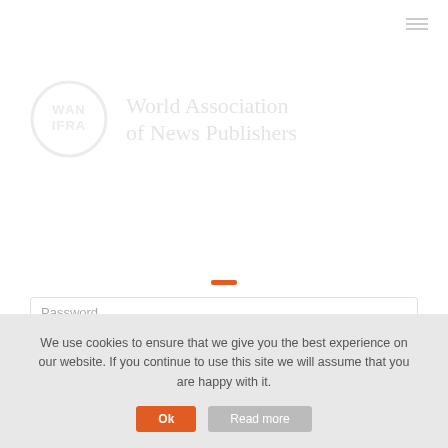[Figure (logo): WAN-IFRA circular logo with text 'World Association of News Publishers' in light gray]
Password
Keep me signed in
We use cookies to ensure that we give you the best experience on our website. If you continue to use this site we will assume that you are happy with it.